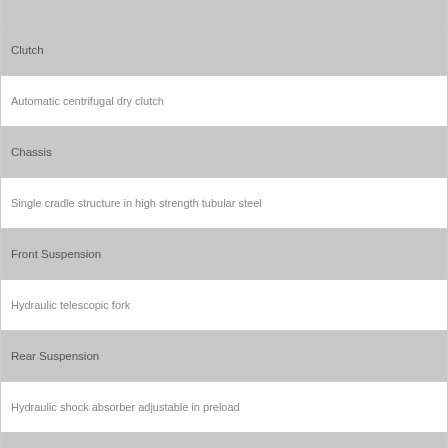| Feature | Value |
| --- | --- |
| Clutch |  |
|  | Automatic centrifugal dry clutch |
| Chassis |  |
|  | Single cradle structure in high strength tubular steel |
| Front Suspension |  |
|  | Hydraulic telescopic fork |
| Rear Suspension |  |
|  | Hydraulic shock absorber adjustable in preload |
| Front Brake |  |
|  | 240 mm disc with hydraulic control |
| Rear Brake |  |